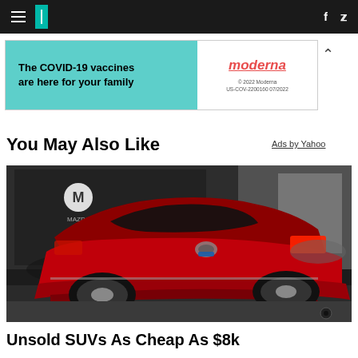HuffPost navigation with hamburger menu, logo, Facebook and Twitter icons
[Figure (advertisement): Moderna COVID-19 vaccine ad banner: 'The COVID-19 vaccines are here for your family' on teal background with Moderna logo on white background]
You May Also Like
Ads by Yahoo
[Figure (photo): Red Toyota RAV4 SUV rear view at what appears to be an auto show, with Mazda logo visible in background]
Unsold SUVs As Cheap As $8k